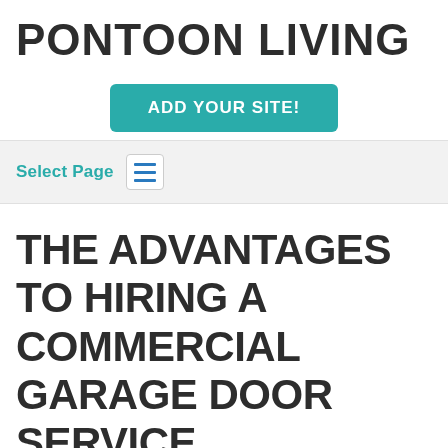PONTOON LIVING
[Figure (other): Teal rounded rectangle button with white bold text reading ADD YOUR SITE!]
Select Page
THE ADVANTAGES TO HIRING A COMMERCIAL GARAGE DOOR SERVICE
About Pontoons, Pontoon Lifestyle, Pontoon Living